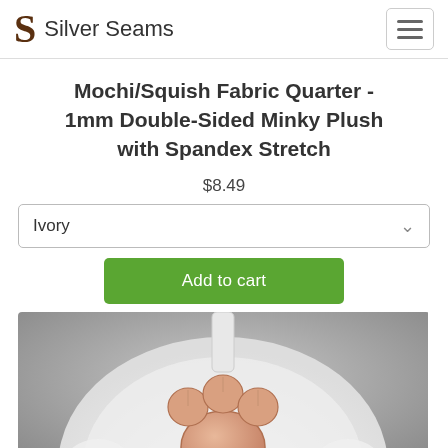Silver Seams
Mochi/Squish Fabric Quarter - 1mm Double-Sided Minky Plush with Spandex Stretch
$8.49
Ivory
Add to cart
[Figure (photo): Close-up photo of a plush stuffed animal paw, white fluffy fabric on outside with peach/beige minky paw pads, shown against a grey background]